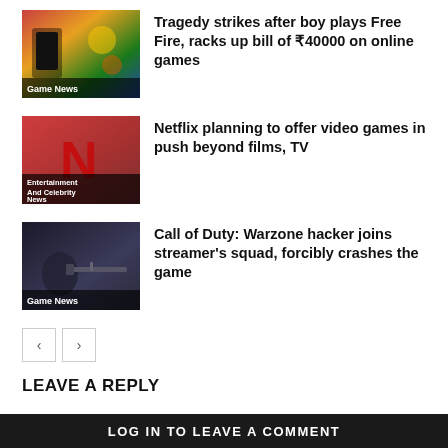[Figure (photo): Game thumbnail with colorful background, labeled Game News]
Tragedy strikes after boy plays Free Fire, racks up bill of ₹40000 on online games
[Figure (photo): Netflix logo thumbnail, labeled Entertainment And Celebrity News]
Netflix planning to offer video games in push beyond films, TV
[Figure (photo): Call of Duty Warzone game screenshot, labeled Game News]
Call of Duty: Warzone hacker joins streamer's squad, forcibly crashes the game
LEAVE A REPLY
LOG IN TO LEAVE A COMMENT